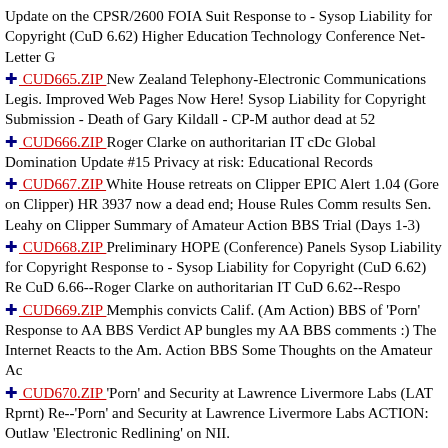Update on the CPSR/2600 FOIA Suit Response to - Sysop Liability for Copyright (CuD 6.62) Higher Education Technology Conference Net-Letter G
CUD665.ZIP New Zealand Telephony-Electronic Communications Legis. Improved Web Pages Now Here! Sysop Liability for Copyright Submission - Death of Gary Kildall - CP-M author dead at 52
CUD666.ZIP Roger Clarke on authoritarian IT cDc Global Domination Update #15 Privacy at risk: Educational Records
CUD667.ZIP White House retreats on Clipper EPIC Alert 1.04 (Gore on Clipper) HR 3937 now a dead end; House Rules Comm results Sen. Leahy on Clipper Summary of Amateur Action BBS Trial (Days 1-3)
CUD668.ZIP Preliminary HOPE (Conference) Panels Sysop Liability for Copyright Response to - Sysop Liability for Copyright (CuD 6.62) Re CuD 6.66--Roger Clarke on authoritarian IT CuD 6.62--Respo
CUD669.ZIP Memphis convicts Calif. (Am Action) BBS of 'Porn' Response to AA BBS Verdict AP bungles my AA BBS comments :) The Internet Reacts to the Am. Action BBS Some Thoughts on the Amateur Ac
CUD670.ZIP 'Porn' and Security at Lawrence Livermore Labs (LAT Rprnt) Re--'Porn' and Security at Lawrence Livermore Labs ACTION: Outlaw 'Electronic Redlining' on NII.
CUD671.ZIP EFF Statement on Leahy/Edwards Digital